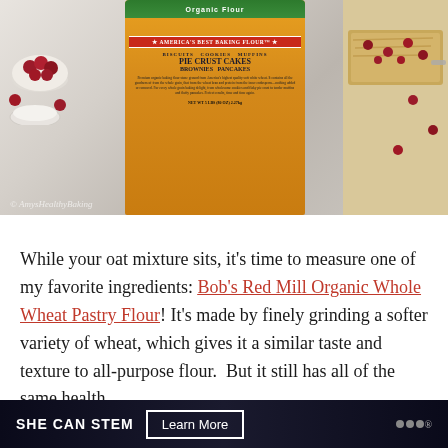[Figure (photo): Photo of Bob's Red Mill Organic Whole Wheat Pastry Flour bag (5 lbs) with cranberries in a bowl on the left and baked goods (bars with cranberries) on the right, on a white surface. Watermark reads '© AmysHealthyBaking']
While your oat mixture sits, it's time to measure one of my favorite ingredients: Bob's Red Mill Organic Whole Wheat Pastry Flour! It's made by finely grinding a softer variety of wheat, which gives it a similar taste and texture to all-purpose flour.  But it still has all of the same health
[Figure (infographic): Dark advertisement bar at the bottom reading 'SHE CAN STEM' with a 'Learn More' button and a logo with dots on the right.]